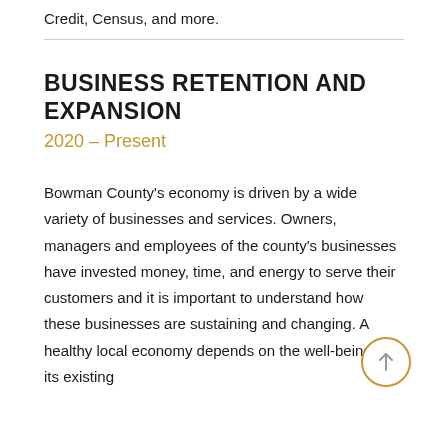Credit, Census, and more.
BUSINESS RETENTION AND EXPANSION
2020 – Present
Bowman County's economy is driven by a wide variety of businesses and services. Owners, managers and employees of the county's businesses have invested money, time, and energy to serve their customers and it is important to understand how these businesses are sustaining and changing. A healthy local economy depends on the well-being of its existing